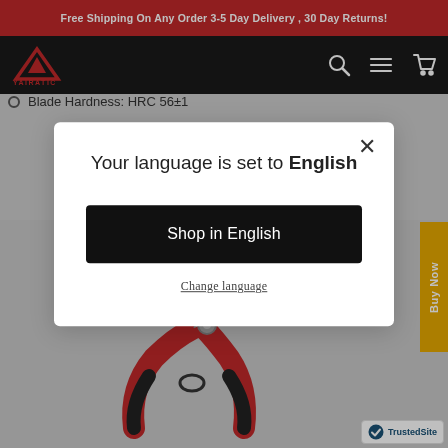Free Shipping On Any Order 3-5 Day Delivery , 30 Day Returns!
[Figure (logo): Yairatic brand logo in red/white on dark nav bar with search, menu, and cart icons]
Blade Hardness: HRC 56±1
[Figure (screenshot): Language selection modal dialog: 'Your language is set to English' with 'Shop in English' button and 'Change language' link]
[Figure (photo): Red and black pruning shears/garden secateurs product photo on gray background]
[Figure (logo): TrustedSite security badge in bottom right corner]